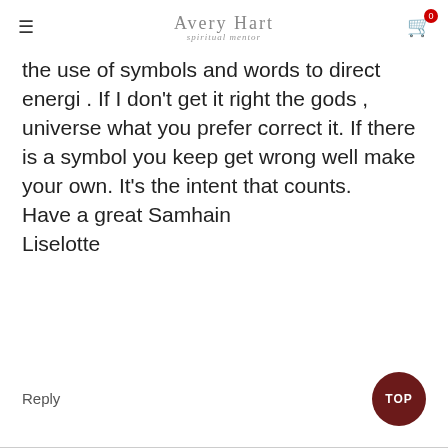Avery Hart
the use of symbols and words to direct energi . If I don't get it right the gods , universe what you prefer correct it. If there is a symbol you keep get wrong well make your own. It's the intent that counts.
Have a great Samhain
Liselotte
Reply